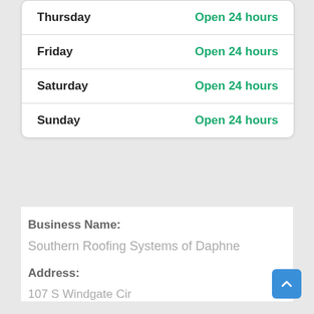| Day | Hours |
| --- | --- |
| Thursday | Open 24 hours |
| Friday | Open 24 hours |
| Saturday | Open 24 hours |
| Sunday | Open 24 hours |
Business Name:
Southern Roofing Systems of Daphne
Address:
107 S Windgate Cir